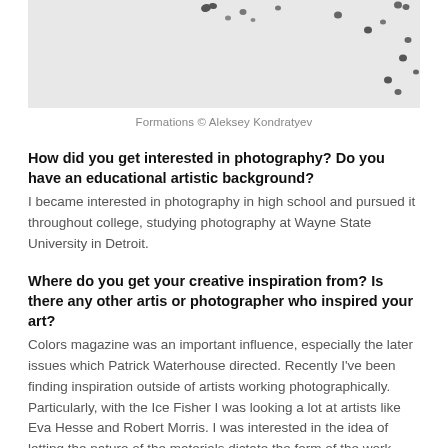[Figure (photo): Partial photograph showing a light grey/white background with scattered dark bird-like silhouettes, cropped at top]
Formations © Aleksey Kondratyev
How did you get interested in photography? Do you have an educational artistic background?
I became interested in photography in high school and pursued it throughout college, studying photography at Wayne State University in Detroit.
Where do you get your creative inspiration from? Is there any other artis or photographer who inspired your art?
Colors magazine was an important influence, especially the later issues which Patrick Waterhouse directed. Recently I've been finding inspiration outside of artists working photographically. Particularly, with the Ice Fisher I was looking a lot at artists like Eva Hesse and Robert Morris. I was interested in the idea of letting the nature of the materials dictate the form of the work.
How much preparation do you put into taking a photograph or